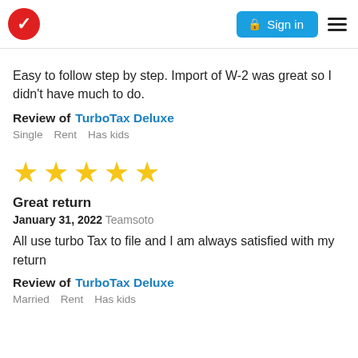TurboTax — Sign in
Easy to follow step by step. Import of W-2 was great so I didn't have much to do.
Review of  TurboTax Deluxe
Single    Rent    Has kids
[Figure (other): Five gold stars rating]
Great return
January 31, 2022  Teamsoto
All use turbo Tax to file and I am always satisfied with my return
Review of  TurboTax Deluxe
Married    Rent    Has kids